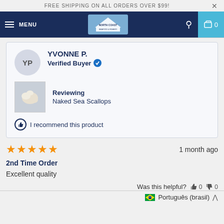FREE SHIPPING ON ALL ORDERS OVER $99!
[Figure (logo): North Coast Seafood logo in navigation bar with menu button and cart]
YVONNE P.
Verified Buyer
Reviewing
Naked Sea Scallops
I recommend this product
1 month ago
2nd Time Order
Excellent quality
Was this helpful?  0  0
Português (brasil)